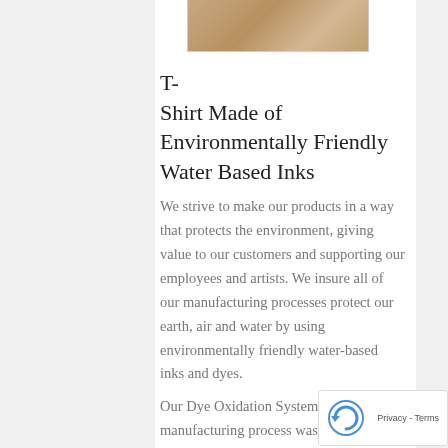[Figure (photo): Partial view of a t-shirt with a printed design, earthy/tan tones visible at the top of the page]
T-Shirt Made of Environmentally Friendly Water Based Inks
We strive to make our products in a way that protects the environment, giving value to our customers and supporting our employees and artists. We insure all of our manufacturing processes protect our earth, air and water by using environmentally friendly water-based inks and dyes.
Our Dye Oxidation System purifi our manufacturing process waste